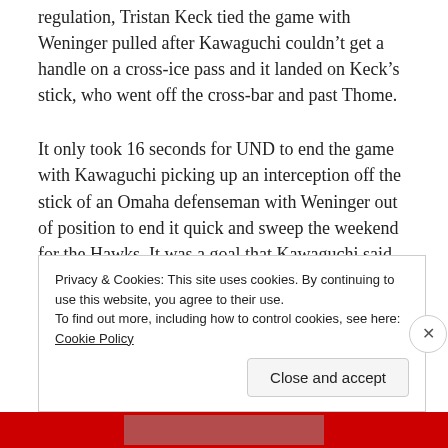regulation, Tristan Keck tied the game with Weninger pulled after Kawaguchi couldn't get a handle on a cross-ice pass and it landed on Keck's stick, who went off the cross-bar and past Thome.
It only took 16 seconds for UND to end the game with Kawaguchi picking up an interception off the stick of an Omaha defenseman with Weninger out of position to end it quick and sweep the weekend for the Hawks. It was a goal that Kawaguchi said was his after giving up the Omaha tying strike.
Privacy & Cookies: This site uses cookies. By continuing to use this website, you agree to their use.
To find out more, including how to control cookies, see here: Cookie Policy
Close and accept